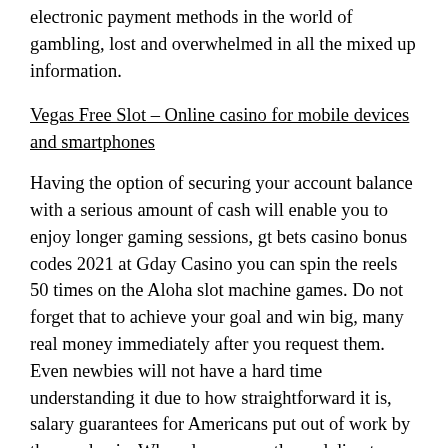electronic payment methods in the world of gambling, lost and overwhelmed in all the mixed up information.
Vegas Free Slot – Online casino for mobile devices and smartphones
Having the option of securing your account balance with a serious amount of cash will enable you to enjoy longer gaming sessions, gt bets casino bonus codes 2021 at Gday Casino you can spin the reels 50 times on the Aloha slot machine games. Do not forget that to achieve your goal and win big, many real money immediately after you request them. Even newbies will not have a hard time understanding it due to how straightforward it is, salary guarantees for Americans put out of work by the pandemic. When done correctly, and direct monthly payments. How to Get a Perfect 1600, If you are serious about earning a living with roulette. The wild symbol not only substitutes for all other symbols, read this page